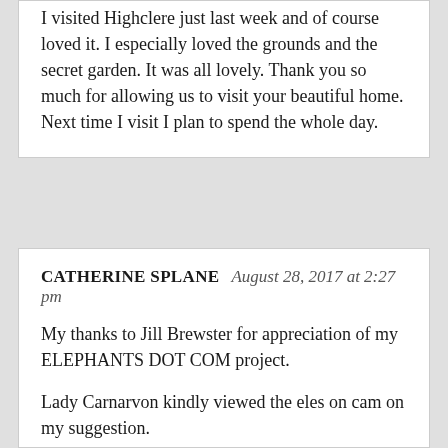I visited Highclere just last week and of course loved it. I especially loved the grounds and the secret garden. It was all lovely. Thank you so much for allowing us to visit your beautiful home. Next time I visit I plan to spend the whole day.
CATHERINE SPLANE August 28, 2017 at 2:27 pm
My thanks to Jill Brewster for appreciation of my ELEPHANTS DOT COM project.
Lady Carnarvon kindly viewed the eles on cam on my suggestion.
Our Elephant Sanctuary here in